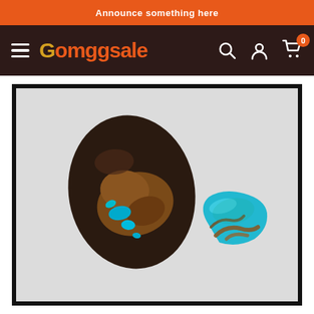Announce something here
Gomggsale
[Figure (photo): Two turquoise gemstones on a light gray background. Left stone is larger, dark brown/black with blue turquoise veining. Right stone is a smaller cabochon-style piece with bright blue turquoise and brown matrix veining.]